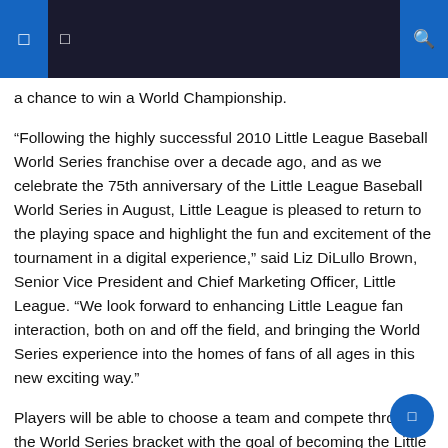a chance to win a World Championship.
“Following the highly successful 2010 Little League Baseball World Series franchise over a decade ago, and as we celebrate the 75th anniversary of the Little League Baseball World Series in August, Little League is pleased to return to the playing space and highlight the fun and excitement of the tournament in a digital experience,” said Liz DiLullo Brown, Senior Vice President and Chief Marketing Officer, Little League. “We look forward to enhancing Little League fan interaction, both on and off the field, and bringing the World Series experience into the homes of fans of all ages in this new exciting way.”
Players will be able to choose a team and compete through the World Series bracket with the goal of becoming the Little League World Series Champion. Players can also skip the